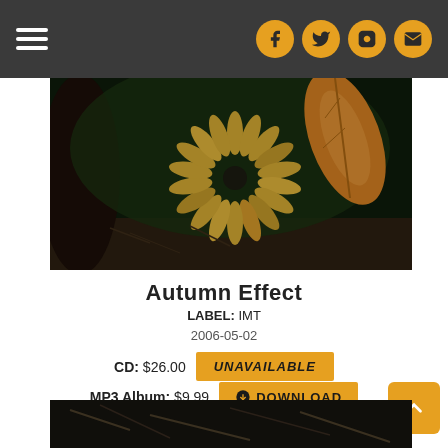Navigation bar with hamburger menu and social icons (Facebook, Twitter, Instagram, Email)
[Figure (photo): Dark atmospheric photo showing autumn flowers/leaves with golden petals against a dark green and black background]
Autumn Effect
LABEL: IMT
2006-05-02
CD: $26.00  UNAVAILABLE
MP3 Album: $9.99  DOWNLOAD
[Figure (photo): Partial dark photo visible at bottom of page — bottom strip of another album or scene]